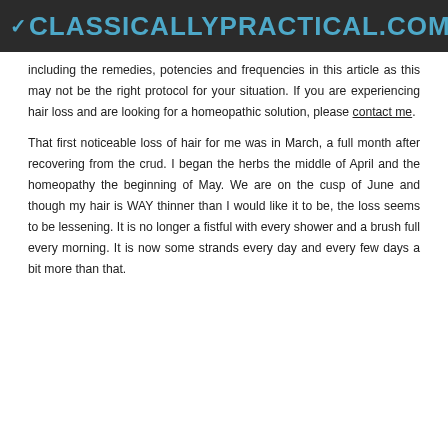CLASSICALLYPRACTICAL.COM
including the remedies, potencies and frequencies in this article as this may not be the right protocol for your situation. If you are experiencing hair loss and are looking for a homeopathic solution, please contact me.
That first noticeable loss of hair for me was in March, a full month after recovering from the crud. I began the herbs the middle of April and the homeopathy the beginning of May. We are on the cusp of June and though my hair is WAY thinner than I would like it to be, the loss seems to be lessening. It is no longer a fistful with every shower and a brush full every morning. It is now some strands every day and every few days a bit more than that.